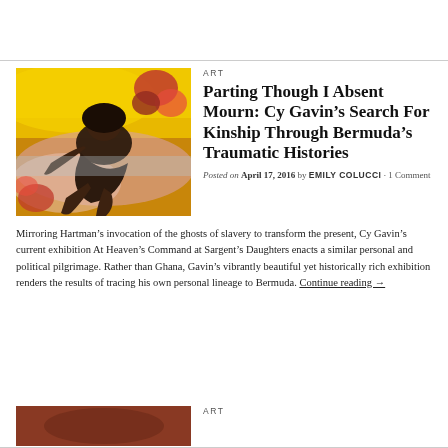[Figure (photo): Painting showing a dark figure reclining against a vivid yellow and orange background with red floral elements]
ART
Parting Though I Absent Mourn: Cy Gavin’s Search For Kinship Through Bermuda’s Traumatic Histories
Posted on April 17, 2016 by EMILY COLUCCI · 1 Comment
Mirroring Hartman’s invocation of the ghosts of slavery to transform the present, Cy Gavin’s current exhibition At Heaven’s Command at Sargent’s Daughters enacts a similar personal and political pilgrimage. Rather than Ghana, Gavin’s vibrantly beautiful yet historically rich exhibition renders the results of tracing his own personal lineage to Bermuda. Continue reading →
ART